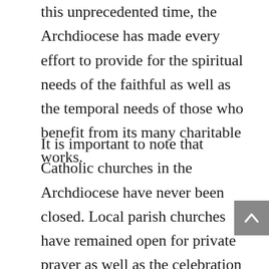this unprecedented time, the Archdiocese has made every effort to provide for the spiritual needs of the faithful as well as the temporal needs of those who benefit from its many charitable works.
It is important to note that Catholic churches in the Archdiocese have never been closed. Local parish churches have remained open for private prayer as well as the celebration of the Sacraments Baptism, Penance, Matrimony, and funeral Masses at the discretion of the local pastor and with respect for guidelines from public health officials as they have evolved over time.